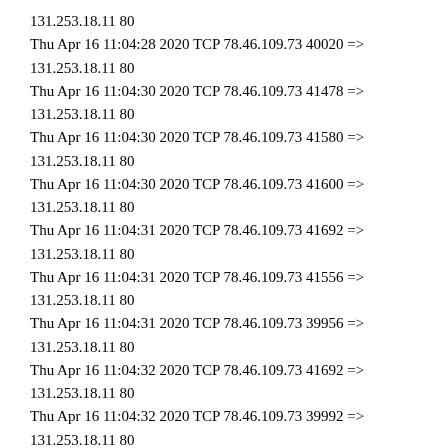131.253.18.11 80
Thu Apr 16 11:04:28 2020 TCP 78.46.109.73 40020 => 131.253.18.11 80
Thu Apr 16 11:04:30 2020 TCP 78.46.109.73 41478 => 131.253.18.11 80
Thu Apr 16 11:04:30 2020 TCP 78.46.109.73 41580 => 131.253.18.11 80
Thu Apr 16 11:04:30 2020 TCP 78.46.109.73 41600 => 131.253.18.11 80
Thu Apr 16 11:04:31 2020 TCP 78.46.109.73 41692 => 131.253.18.11 80
Thu Apr 16 11:04:31 2020 TCP 78.46.109.73 41556 => 131.253.18.11 80
Thu Apr 16 11:04:31 2020 TCP 78.46.109.73 39956 => 131.253.18.11 80
Thu Apr 16 11:04:32 2020 TCP 78.46.109.73 41692 => 131.253.18.11 80
Thu Apr 16 11:04:32 2020 TCP 78.46.109.73 39992 => 131.253.18.11 80